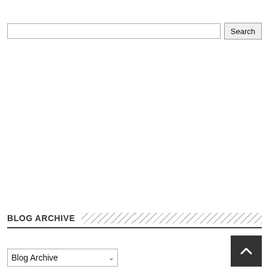Search (input field and button)
BLOG ARCHIVE
Blog Archive (dropdown)